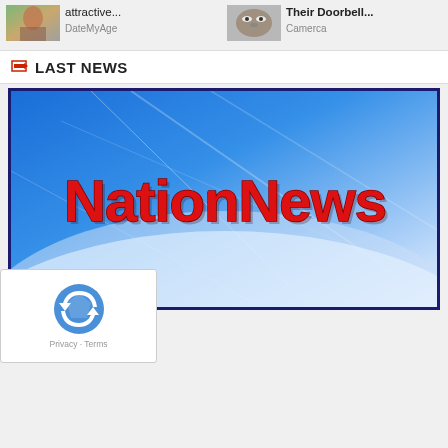[Figure (photo): Ad thumbnail: woman photo with text 'attractive...' and source 'DateMyAge']
[Figure (photo): Ad thumbnail: cat/animal photo with text 'Their Doorbell...' and source 'Camerca']
LAST NEWS
[Figure (logo): NationNews logo on blue abstract background with light streaks]
TORS PICK
shelves
[Figure (other): Google reCAPTCHA widget with Privacy and Terms links]